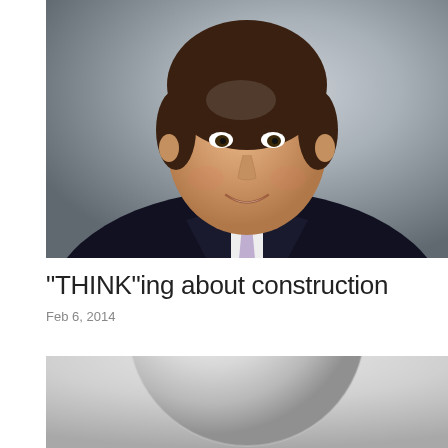[Figure (photo): Professional headshot of a man in a dark suit with white shirt and light purple tie, smiling, against a grey studio background]
“THINK”ing about construction
Feb 6, 2014
[Figure (photo): Crystal ball or globe on a grey background, partially visible at bottom of page]